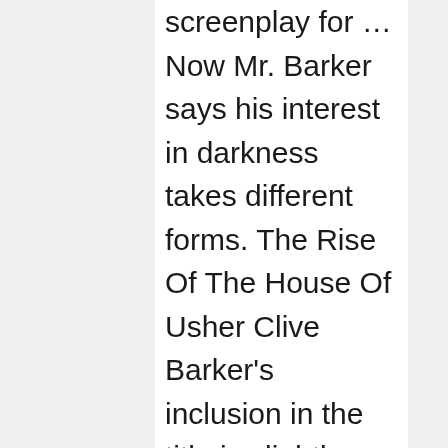screenplay for … Now Mr. Barker says his interest in darkness takes different forms. The Rise Of The House Of Usher Clive Barker's inclusion in the title is slightly deceptive. British author, director, and artist who is … For many transplant patients, the good news of a life-saving organ match is accompanied by feelings of uncertainty and a whole new set of challenges, especially if they are traveling to receive care. Clive Barker's artwork expresses an unseen world of fantasy, co-existing with our own reality. The Penn Transplant House officially